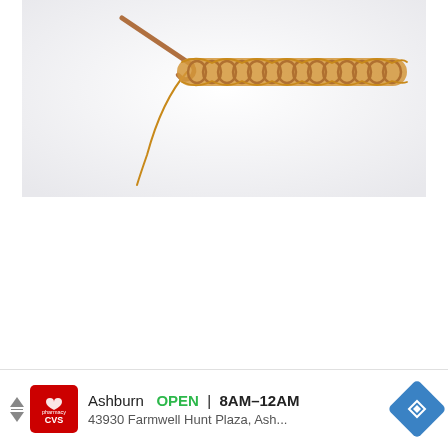[Figure (photo): A crochet chain stitch in golden/amber yarn with a copper/brown crochet hook inserted, laid flat on a white background. The chain extends horizontally to the right.]
[Figure (other): Advertisement banner: CVS Pharmacy logo (red square with white heart and text), showing 'Ashburn OPEN 8AM-12AM' and address '43930 Farmwell Hunt Plaza, Ash...' with a blue diamond navigation arrow icon on the right. Ad navigation arrows on the left side.]